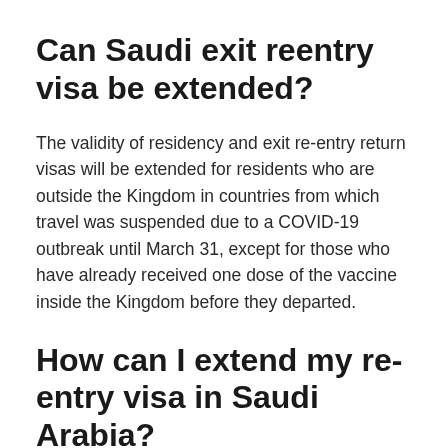Can Saudi exit reentry visa be extended?
The validity of residency and exit re-entry return visas will be extended for residents who are outside the Kingdom in countries from which travel was suspended due to a COVID-19 outbreak until March 31, except for those who have already received one dose of the vaccine inside the Kingdom before they departed.
How can I extend my re-entry visa in Saudi Arabia?
Letter from the Saudi sponsor or consulate